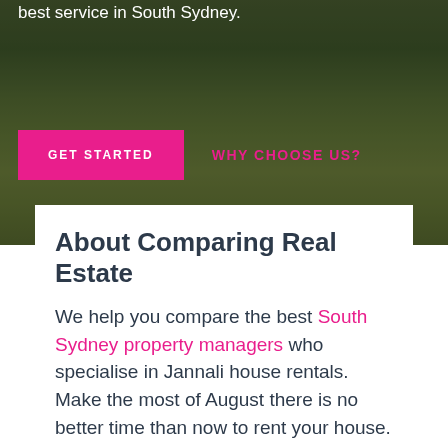[Figure (photo): Hero section with outdoor lawn/garden area background photo, dark overlay]
best service in South Sydney.
GET STARTED
WHY CHOOSE US?
About Comparing Real Estate
We help you compare the best South Sydney property managers who specialise in Jannali house rentals. Make the most of August there is no better time than now to rent your house.